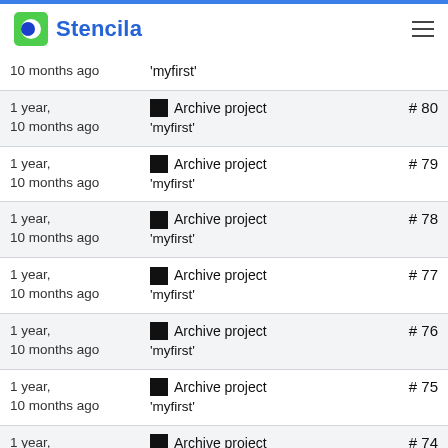Stencila
| Time | Action | Number |
| --- | --- | --- |
| 10 months ago | Archive project 'myfirst' |  |
| 1 year, 10 months ago | Archive project 'myfirst' | #80 |
| 1 year, 10 months ago | Archive project 'myfirst' | #79 |
| 1 year, 10 months ago | Archive project 'myfirst' | #78 |
| 1 year, 10 months ago | Archive project 'myfirst' | #77 |
| 1 year, 10 months ago | Archive project 'myfirst' | #76 |
| 1 year, 10 months ago | Archive project 'myfirst' | #75 |
| 1 year, | Archive project | #74 |